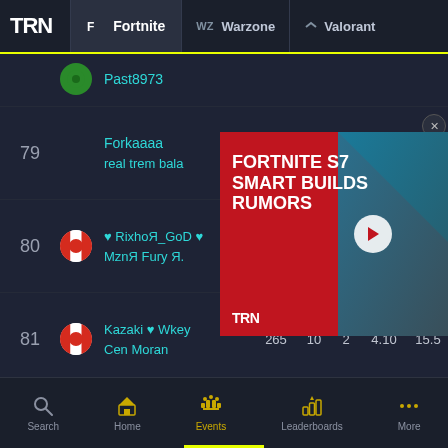TRN | Fortnite | Warzone | Valorant
Past8973
79 | Forkaaaa | real trem bala
[Figure (screenshot): TRN advertisement: FORTNITE S7 SMART BUILDS RUMORS with play button]
80 | ♥ Rixhoя_GoD ♥ | MznR Fury я. | 265 | 10 | 2 | 4.90 | 15.3
81 | Kazaki ♥ Wkey | Cen Moran | 265 | 10 | 2 | 4.10 | 15.5
82 | berz slim shady. | Amply Raiozin777 | 265 | 8 | 2 | 3.38 | 6.6
Search | Home | Events | Leaderboards | More